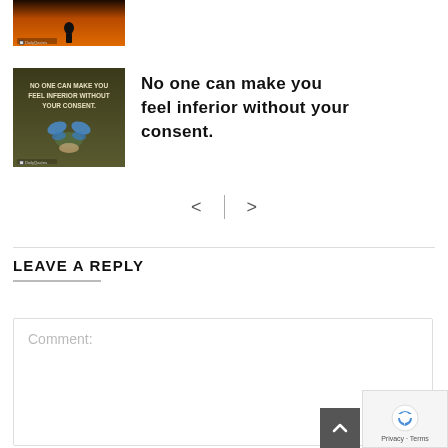[Figure (photo): Cropped silhouette of a person against a sunset/dark orange sky background, partially visible at top of page]
[Figure (photo): Quote image with dark olive/green background, text 'NO ONE CAN MAKE YOU FEEL INFERIOR WITHOUT YOUR CONSENT.' overlaid, with a butterfly image at bottom]
No one can make you feel inferior without your consent.
< >
LEAVE A REPLY
Comment: